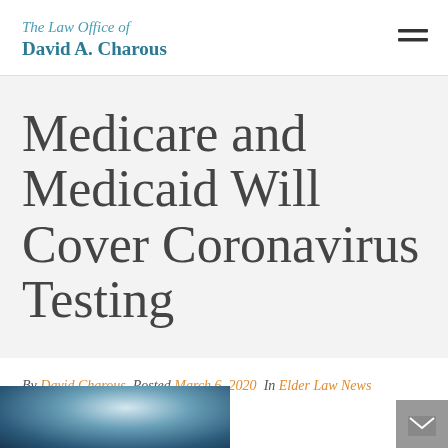The Law Office of David A. Charous
Medicare and Medicaid Will Cover Coronavirus Testing
By David Charous  Posted March 6, 2020  In Elder Law News
[Figure (screenshot): Action bar with comment icon showing 0 comments, share icon, print icon, and email envelope button on the right]
[Figure (photo): Partial bottom image, appears to be a person or medical-related photo, cropped]